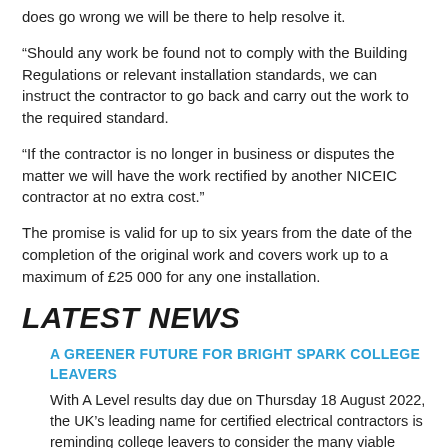does go wrong we will be there to help resolve it.
“Should any work be found not to comply with the Building Regulations or relevant installation standards, we can instruct the contractor to go back and carry out the work to the required standard.
“If the contractor is no longer in business or disputes the matter we will have the work rectified by another NICEIC contractor at no extra cost.”
The promise is valid for up to six years from the date of the completion of the original work and covers work up to a maximum of £25 000 for any one installation.
LATEST NEWS
A GREENER FUTURE FOR BRIGHT SPARK COLLEGE LEAVERS
With A Level results day due on Thursday 18 August 2022, the UK’s leading name for certified electrical contractors is reminding college leavers to consider the many viable alternatives to a degree.